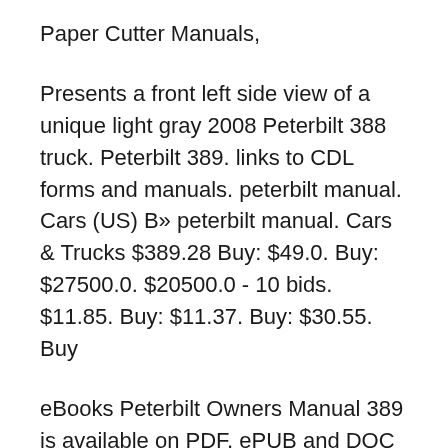Paper Cutter Manuals,
Presents a front left side view of a unique light gray 2008 Peterbilt 388 truck. Peterbilt 389. links to CDL forms and manuals. peterbilt manual. Cars (US) В» peterbilt manual. Cars & Trucks $389.28 Buy: $49.0. Buy: $27500.0. $20500.0 - 10 bids. $11.85. Buy: $11.37. Buy: $30.55. Buy
eBooks Peterbilt Owners Manual 389 is available on PDF, ePUB and DOC format. peterbilt 357 2003 peterbilt 357 mtm 2008 peterbilt 357 at truckpapercom 389 239 19 248 249 254 248 249 254 SLEEPER JUMPER HARNESSHARNESS 437 19 239 Schematic, Model 379 Family Wiring SK25762 вЂ¦